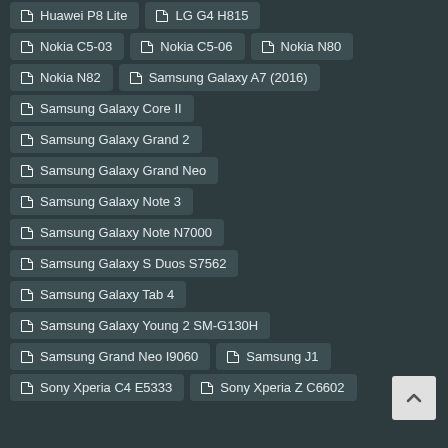Huawei P8 Lite
LG G4 H815
Nokia C5-03
Nokia C5-06
Nokia N80
Nokia N82
Samsung Galaxy A7 (2016)
Samsung Galaxy Core II
Samsung Galaxy Grand 2
Samsung Galaxy Grand Neo
Samsung Galaxy Note 3
Samsung Galaxy Note N7000
Samsung Galaxy S Duos S7562
Samsung Galaxy Tab 4
Samsung Galaxy Young 2 SM-G130H
Samsung Grand Neo I9060
Samsung J1
Sony Xperia C4 E5333
Sony Xperia Z C6602